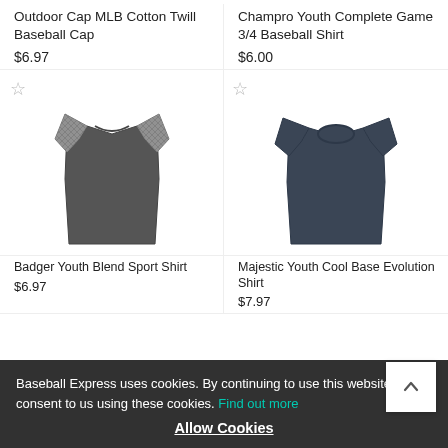Outdoor Cap MLB Cotton Twill Baseball Cap
Champro Youth Complete Game 3/4 Baseball Shirt
$6.97
$6.00
[Figure (photo): Badger Youth Blend Sport Shirt - grey t-shirt with patterned/camo raglan sleeves]
[Figure (photo): Majestic Youth Cool Base Evolution Shirt - plain dark grey/navy crew neck t-shirt]
Badger Youth Blend Sport Shirt
Majestic Youth Cool Base Evolution Shirt
$6.97
$7.97
Baseball Express uses cookies. By continuing to use this website, you consent to us using these cookies. Find out more
Allow Cookies